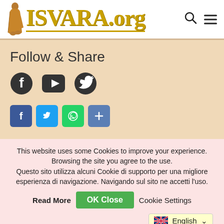[Figure (logo): ISVARA.org website header with monk figure silhouette and gold text logo, plus search and menu icons]
Follow & Share
[Figure (illustration): Social media follow icons: Facebook, YouTube, Twitter (dark grey)]
[Figure (illustration): Social share buttons: Facebook (blue), Twitter (blue), WhatsApp (green), Share/Plus (blue)]
This website uses some Cookies to improve your experience. Browsing the site you agree to the use. Questo sito utilizza alcuni Cookie di supporto per una migliore esperienza di navigazione. Navigando sul sito ne accetti l'uso.
Read More | OK Close | Cookie Settings
English